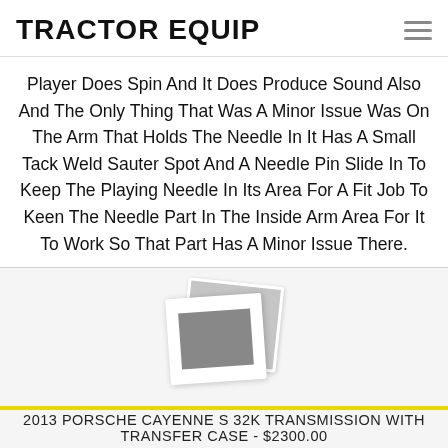TRACTOR EQUIP
Player Does Spin And It Does Produce Sound Also And The Only Thing That Was A Minor Issue Was On The Arm That Holds The Needle In It Has A Small Tack Weld Sauter Spot And A Needle Pin Slide In To Keep The Playing Needle In Its Area For A Fit Job To Keen The Needle Part In The Inside Arm Area For It To Work So That Part Has A Minor Issue There.
[Figure (photo): Placeholder image showing two overlapping polaroid-style photo frames with grey rectangles, indicating no image loaded.]
2013 PORSCHE CAYENNE S 32K TRANSMISSION WITH TRANSFER CASE - $2300.00